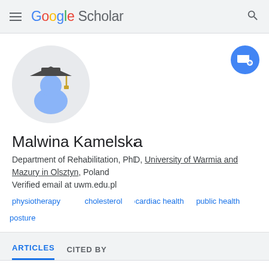Google Scholar
[Figure (illustration): Google Scholar default avatar: circular grey background with a blue academic figure wearing a dark grey graduation cap with gold tassel]
[Figure (illustration): Blue circular follow/email button with envelope and plus icon]
Malwina Kamelska
Department of Rehabilitation, PhD, University of Warmia and Mazury in Olsztyn, Poland
Verified email at uwm.edu.pl
physiotherapy
cholesterol
cardiac health
public health
posture
ARTICLES   CITED BY
SORT ▾   CITED BY
Variation of the cholesterol content trial as pill...